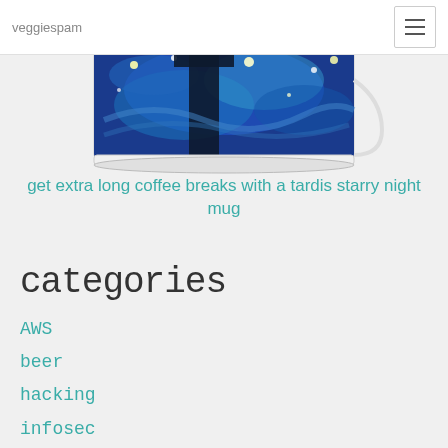veggiespam
[Figure (photo): A ceramic mug with Tardis Starry Night artwork printed on it, showing blue swirling patterns and a dark silhouette]
get extra long coffee breaks with a tardis starry night mug
categories
AWS
beer
hacking
infosec
lifestyle
nyc